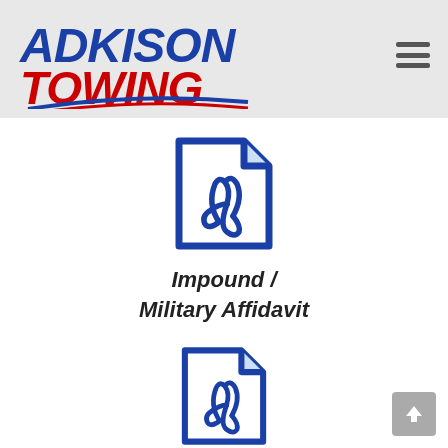[Figure (logo): Adkison Towing company logo with blue ADKISON text and red TOWING text in italic bold, with a red and blue swoosh underline]
[Figure (illustration): PDF file icon in blue — document shape with folded top-right corner and Adobe Acrobat reader symbol inside]
Impound / Military Affidavit
[Figure (illustration): PDF file icon in blue — document shape with folded top-right corner and Adobe Acrobat reader symbol inside]